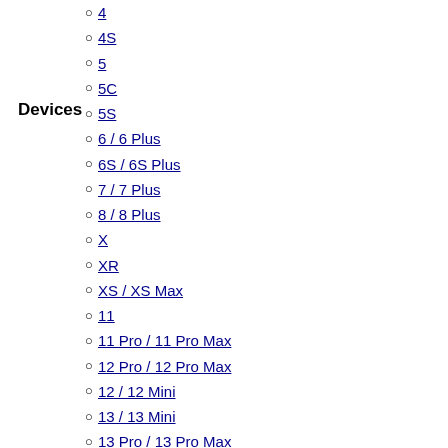Devices
4
4S
5
5C
5S
6 / 6 Plus
6S / 6S Plus
7 / 7 Plus
8 / 8 Plus
X
XR
XS / XS Max
11
11 Pro / 11 Pro Max
12 Pro / 12 Pro Max
12 / 12 Mini
13 / 13 Mini
13 Pro / 13 Pro Max
iPhone SE
1st
2nd
3rd
iPod
Classic
Mini